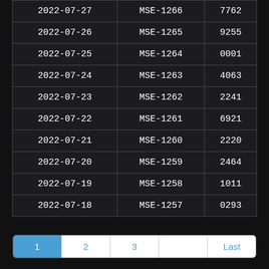| 2022-07-27 | MSE-1266 | 7762 |
| 2022-07-26 | MSE-1265 | 9255 |
| 2022-07-25 | MSE-1264 | 0001 |
| 2022-07-24 | MSE-1263 | 4063 |
| 2022-07-23 | MSE-1262 | 2241 |
| 2022-07-22 | MSE-1261 | 6921 |
| 2022-07-21 | MSE-1260 | 2220 |
| 2022-07-20 | MSE-1259 | 2464 |
| 2022-07-19 | MSE-1258 | 1011 |
| 2022-07-18 | MSE-1257 | 0293 |
Pagination: 1 2 3 ... Last